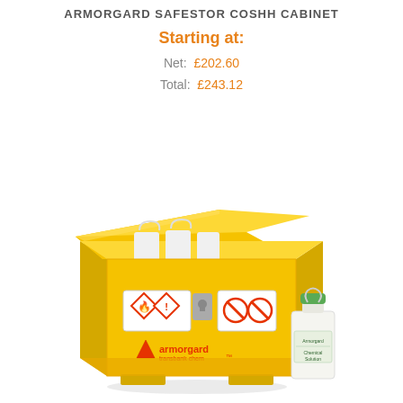ARMORGARD SAFESTOR COSHH CABINET
Starting at:
Net: £202.60
Total: £243.12
[Figure (photo): Yellow Armorgard Transbank Chem COSHH cabinet with open lid showing chemical bottles inside, hazard warning symbols on the front, a lock mechanism, and a white plastic chemical container placed beside it on the right.]